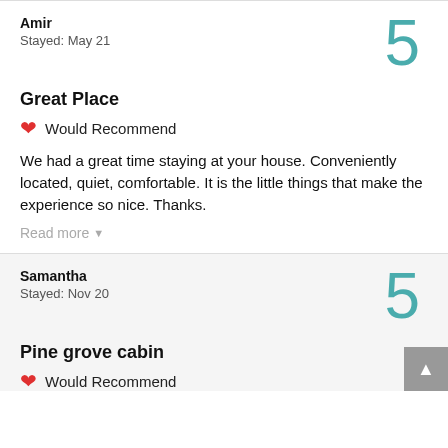Amir
Stayed: May 21
5
Great Place
❤ Would Recommend
We had a great time staying at your house. Conveniently located, quiet, comfortable. It is the little things that make the experience so nice. Thanks.
Read more ▾
Samantha
Stayed: Nov 20
5
Pine grove cabin
❤ Would Recommend